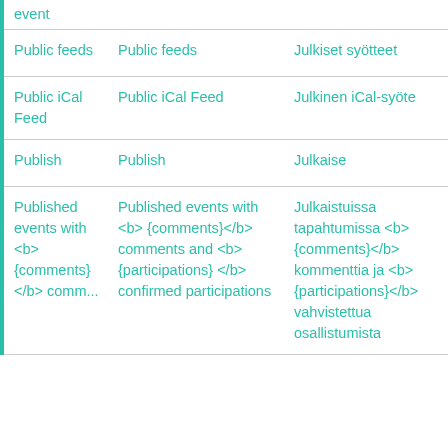| Term | English | Translation | Actions |
| --- | --- | --- | --- |
| Public feeds | Public feeds | Julkiset syötteet | copy/refresh |
| Public iCal Feed | Public iCal Feed | Julkinen iCal-syöte | copy/refresh |
| Publish | Publish | Julkaise | copy/refresh |
| Published events with <b>{comments}</b> comments and <b>{participations}</b> confirmed participations | Published events with <b>{comments}</b> comments and <b>{participations}</b> confirmed participations | Julkaistuissa tapahtumissa <b>{comments}</b> kommenttia ja <b>{participations}</b> vahvistettua osallistumista | copy/refresh |